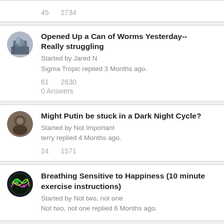45   2734
Opened Up a Can of Worms Yesterday-- Really struggling
Started by Jared N
Sigma Tropic replied 3 Months ago.
61   2630
0 Answers
Might Putin be stuck in a Dark Night Cycle?
Started by Not Important
terry replied 4 Months ago.
24   1571
Breathing Sensitive to Happiness (10 minute exercise instructions)
Started by Not two, not one
Not two, not one replied 6 Months ago.